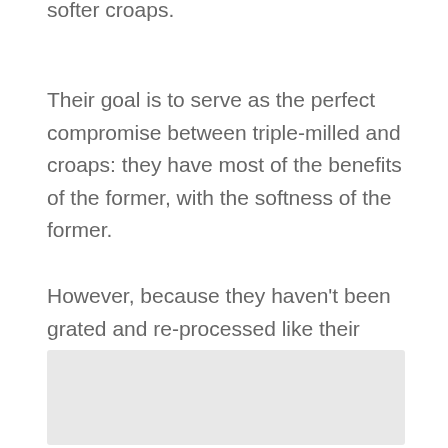softer croaps.
Their goal is to serve as the perfect compromise between triple-milled and croaps: they have most of the benefits of the former, with the softness of the former.
However, because they haven't been grated and re-processed like their triple-milled competitors, they're life is a bit shorter.
[Figure (other): Gray rectangular box at the bottom of the page]